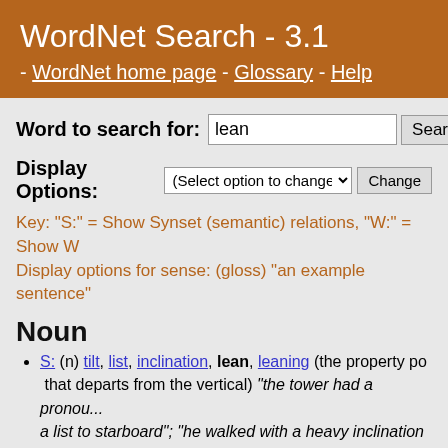WordNet Search - 3.1 - WordNet home page - Glossary - Help
Word to search for: lean [Search WordNet]
Display Options: (Select option to change) [Change]
Key: "S:" = Show Synset (semantic) relations, "W:" = Show W... Display options for sense: (gloss) "an example sentence"
Noun
S: (n) tilt, list, inclination, lean, leaning (the property po... that departs from the vertical) "the tower had a pronou... a list to starboard"; "he walked with a heavy inclination...
Verb
S: (v) lean, tilt, tip, slant, angle (to incline or bend from... leaned over the banister"
direct troponym / full troponym
direct hypernym / inherited hypernym / sister ter...